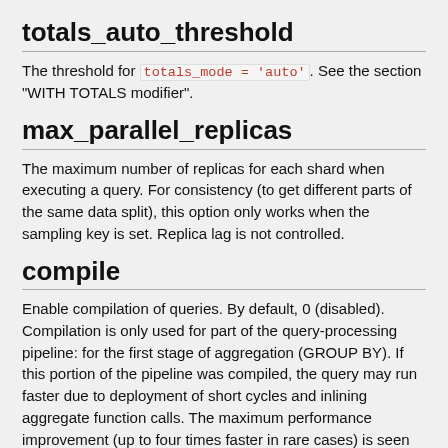totals_auto_threshold
The threshold for totals_mode = 'auto'. See the section "WITH TOTALS modifier".
max_parallel_replicas
The maximum number of replicas for each shard when executing a query. For consistency (to get different parts of the same data split), this option only works when the sampling key is set. Replica lag is not controlled.
compile
Enable compilation of queries. By default, 0 (disabled). Compilation is only used for part of the query-processing pipeline: for the first stage of aggregation (GROUP BY). If this portion of the pipeline was compiled, the query may run faster due to deployment of short cycles and inlining aggregate function calls. The maximum performance improvement (up to four times faster in rare cases) is seen for queries with multiple simple aggregate functions. Typically, the performance gain is insignificant. In very rare cases, it may slow down query execution.